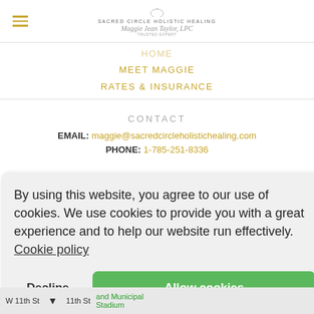[Figure (logo): Sacred Circle Holistic Healing logo with hamburger menu icon on the left and circular logo in the center with script text]
MEET MAGGIE
RATES & INSURANCE
CONTACT
EMAIL: maggie@sacredcircleholistichealing.com
PHONE: 1-785-251-8336
By using this website, you agree to our use of cookies. We use cookies to provide you with a great experience and to help our website run effectively. Cookie policy
Decline   Allow cookies
[Figure (map): Map strip at bottom showing street names: W 11th St, 11th St, and Municipal Stadium]